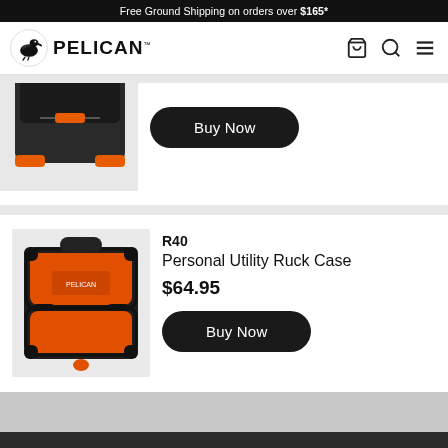Free Ground Shipping on orders over $165*
[Figure (logo): Pelican brand logo with pelican bird icon and PELICAN text]
[Figure (photo): Partial view of a Pelican case, cropped at top]
Buy Now
R40
Personal Utility Ruck Case
$64.95
[Figure (photo): Pelican R40 Personal Utility Ruck Case in orange and black]
Buy Now